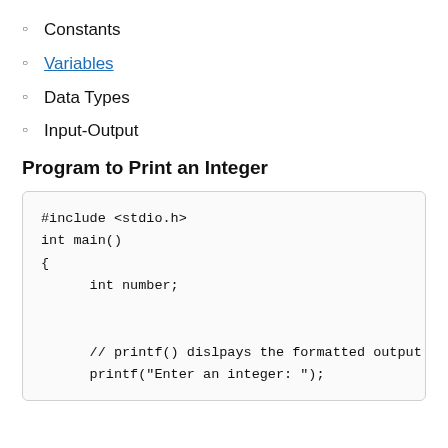Constants
Variables
Data Types
Input-Output
Program to Print an Integer
#include <stdio.h>
int main()
{
    int number;


    // printf() dislpays the formatted output
    printf("Enter an integer: ");